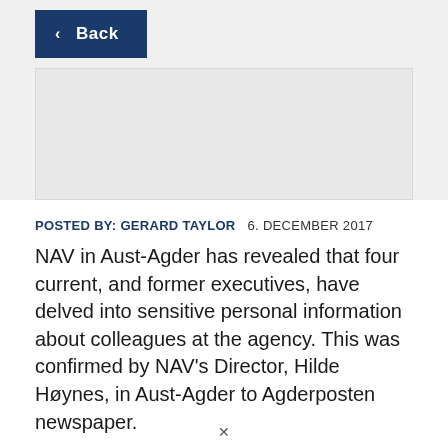[Figure (screenshot): Back navigation button with dark blue background and white text reading '< Back']
POSTED BY: GERARD TAYLOR   6. DECEMBER 2017
NAV in Aust-Agder has revealed that four current, and former executives, have delved into sensitive personal information about colleagues at the agency. This was confirmed by NAV's Director, Hilde Høynes, in Aust-Agder to Agderposten newspaper.